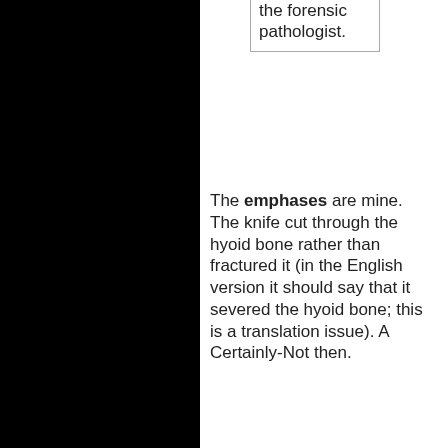the forensic pathologist.
The emphases are mine. The knife cut through the hyoid bone rather than fractured it (in the English version it should say that it severed the hyoid bone; this is a translation issue). A Certainly-Not then.